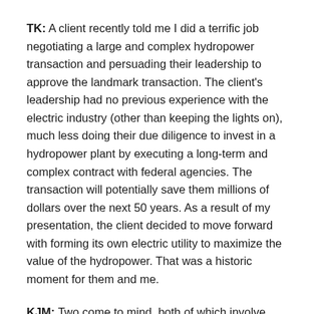TK: A client recently told me I did a terrific job negotiating a large and complex hydropower transaction and persuading their leadership to approve the landmark transaction. The client's leadership had no previous experience with the electric industry (other than keeping the lights on), much less doing their due diligence to invest in a hydropower plant by executing a long-term and complex contract with federal agencies. The transaction will potentially save them millions of dollars over the next 50 years. As a result of my presentation, the client decided to move forward with forming its own electric utility to maximize the value of the hydropower. That was a historic moment for them and me.
KJM: Two come to mind, both of which involve finessing relationships between various stakeholders on the same side of litigation.
I was working on a significant matter for a Fortune 100 company. The CEO of the company wanted to approach the litigation